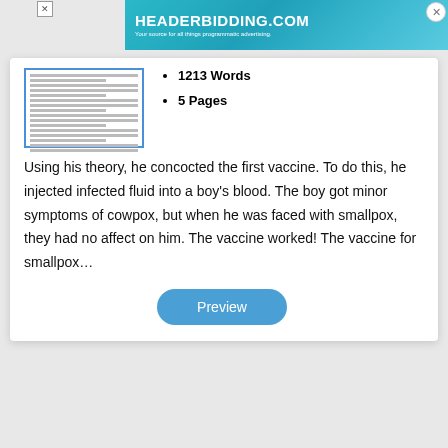[Figure (screenshot): Header bidding advertisement banner with teal/blue gradient background, text 'HEADERBIDDING.COM' and subtitle 'Your source for all things programmatic advertising.']
[Figure (screenshot): Thumbnail preview of a document page showing lines of text]
1213 Words
5 Pages
Using his theory, he concocted the first vaccine. To do this, he injected infected fluid into a boy's blood. The boy got minor symptoms of cowpox, but when he was faced with smallpox, they had no affect on him. The vaccine worked! The vaccine for smallpox…